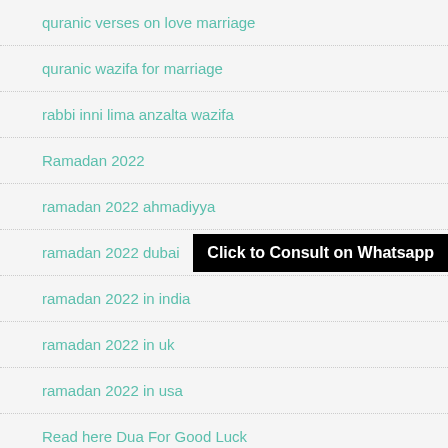quranic verses on love marriage
quranic wazifa for marriage
rabbi inni lima anzalta wazifa
Ramadan 2022
ramadan 2022 ahmadiyya
ramadan 2022 dubai
ramadan 2022 in india
ramadan 2022 in uk
ramadan 2022 in usa
Read here Dua For Good Luck